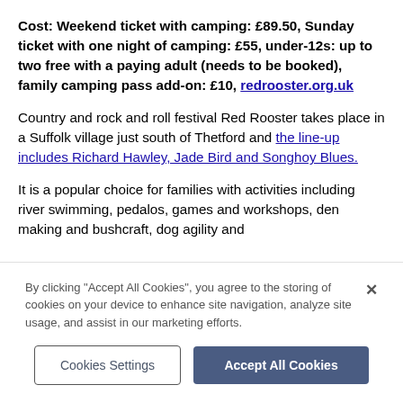Cost: Weekend ticket with camping: £89.50, Sunday ticket with one night of camping: £55, under-12s: up to two free with a paying adult (needs to be booked), family camping pass add-on: £10, redrooster.org.uk
Country and rock and roll festival Red Rooster takes place in a Suffolk village just south of Thetford and the line-up includes Richard Hawley, Jade Bird and Songhoy Blues.
It is a popular choice for families with activities including river swimming, pedalos, games and workshops, den making and bushcraft, dog agility and
By clicking "Accept All Cookies", you agree to the storing of cookies on your device to enhance site navigation, analyze site usage, and assist in our marketing efforts.